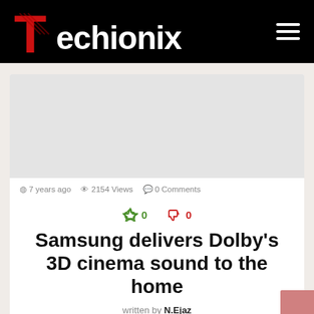Techionix
[Figure (illustration): Gray placeholder rectangle representing an article image]
7 years ago   2154 Views   0 Comments
👍 0   👎 0
Samsung delivers Dolby's 3D cinema sound to the home
written by N.Ejaz